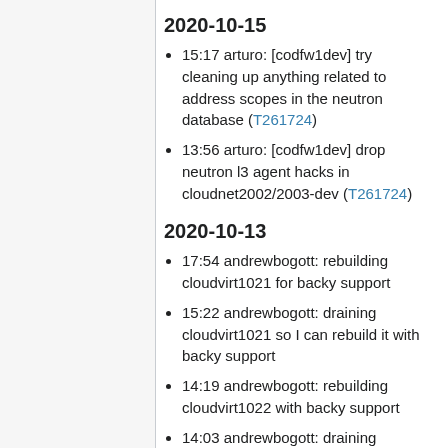2020-10-15
15:17 arturo: [codfw1dev] try cleaning up anything related to address scopes in the neutron database (T261724)
13:56 arturo: [codfw1dev] drop neutron l3 agent hacks in cloudnet2002/2003-dev (T261724)
2020-10-13
17:54 andrewbogott: rebuilding cloudvirt1021 for backy support
15:22 andrewbogott: draining cloudvirt1021 so I can rebuild it with backy support
14:19 andrewbogott: rebuilding cloudvirt1022 with backy support
14:03 andrewbogott: draining cloudvirt1022 so I can rebuild it with